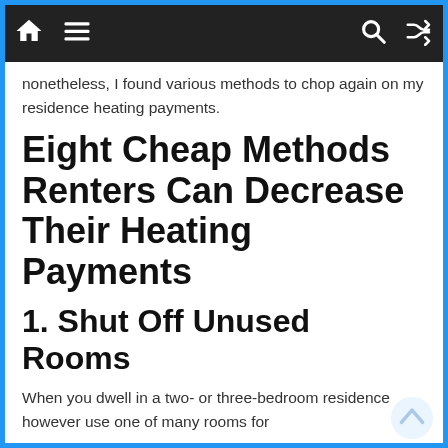[navigation bar with home, menu, search, and shuffle icons]
nonetheless, I found various methods to chop again on my residence heating payments.
Eight Cheap Methods Renters Can Decrease Their Heating Payments
1. Shut Off Unused Rooms
When you dwell in a two- or three-bedroom residence however use one of many rooms for